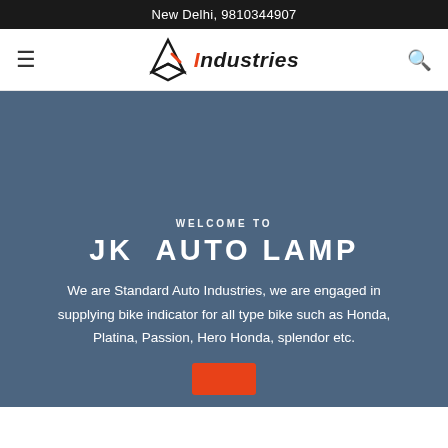New Delhi, 9810344907
[Figure (logo): AB Industries logo with triangular icon and italic text 'Industries']
WELCOME TO
JK AUTO LAMP
We are Standard Auto Industries, we are engaged in supplying bike indicator for all type bike such as Honda, Platina, Passion, Hero Honda, splendor etc.